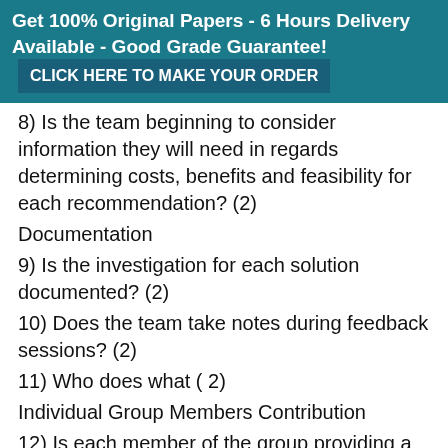Get 100% Original Papers - 6 Hours Delivery Available - Good Grade Guarantee! CLICK HERE TO MAKE YOUR ORDER
8) Is the team beginning to consider information they will need in regards determining costs, benefits and feasibility for each recommendation? (2)
Documentation
9) Is the investigation for each solution documented? (2)
10) Does the team take notes during feedback sessions? (2)
11) Who does what ( 2)
Individual Group Members Contribution
12) Is each member of the group providing a weekly update as to their investigation tasks and completion status? (2)
13) Is each member of the group